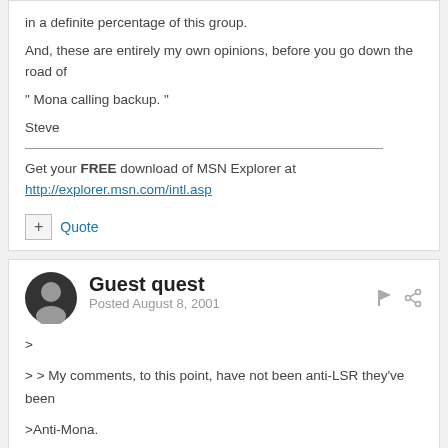in a definite percentage of this group.
And, these are entirely my own opinions, before you go down the road of
" Mona calling backup. "
Steve
Get your FREE download of MSN Explorer at http://explorer.msn.com/intl.asp
+ Quote
Guest quest
Posted August 8, 2001
>
> > My comments, to this point, have not been anti-LSR they've been
>Anti-Mona.